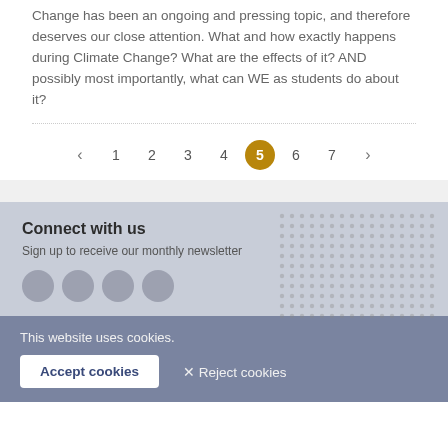Change has been an ongoing and pressing topic, and therefore deserves our close attention. What and how exactly happens during Climate Change? What are the effects of it? AND possibly most importantly, what can WE as students do about it?
[Figure (other): Pagination control showing pages 1 through 7, with page 5 highlighted in a gold/amber circle, and left/right arrow navigation buttons]
Connect with us
Sign up to receive our monthly newsletter
This website uses cookies.
Accept cookies  ✕ Reject cookies